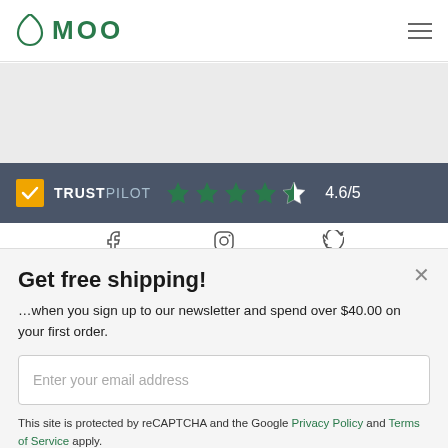MOO
[Figure (other): Gray banner area placeholder]
TRUSTPILOT ★★★★½ 4.6/5
[Figure (other): Social media icons row: Facebook, Instagram, Twitter]
Get free shipping!
…when you sign up to our newsletter and spend over $40.00 on your first order.
Enter your email address
This site is protected by reCAPTCHA and the Google Privacy Policy and Terms of Service apply.
Privacy Policy ›
Sign up